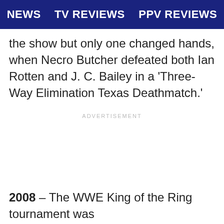NEWS   TV REVIEWS   PPV REVIEWS
the show but only one changed hands, when Necro Butcher defeated both Ian Rotten and J. C. Bailey in a ‘Three-Way Elimination Texas Deathmatch.’
ADVERTISEMENT
2008 – The WWE King of the Ring tournament was